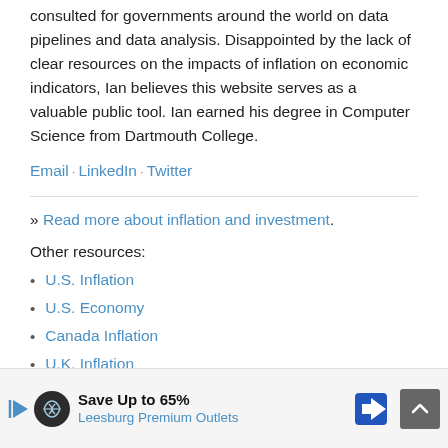consulted for governments around the world on data pipelines and data analysis. Disappointed by the lack of clear resources on the impacts of inflation on economic indicators, Ian believes this website serves as a valuable public tool. Ian earned his degree in Computer Science from Dartmouth College.
Email · LinkedIn · Twitter
» Read more about inflation and investment.
Other resources:
U.S. Inflation
U.S. Economy
Canada Inflation
U.K. Inflation
Aus…
[Figure (other): Advertisement banner: Save Up to 65% - Leesburg Premium Outlets, with circular logo icon, navigation arrow icon, and scroll-to-top button]